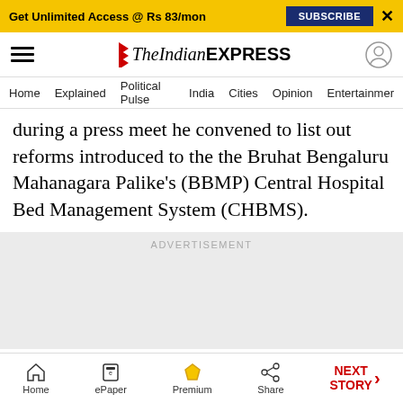Get Unlimited Access @ Rs 83/mon   SUBSCRIBE   X
The Indian EXPRESS
Home   Explained   Political Pulse   India   Cities   Opinion   Entertainment
during a press meet he convened to list out reforms introduced to the the Bruhat Bengaluru Mahanagara Palike's (BBMP) Central Hospital Bed Management System (CHBMS).
ADVERTISEMENT
Home   ePaper   Premium   Share   NEXT STORY